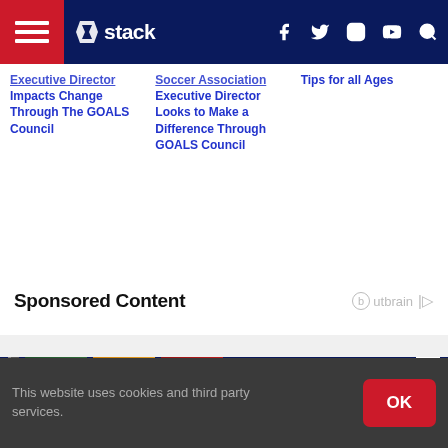stack — navigation bar with hamburger menu, logo, social icons (f, twitter, instagram, youtube), search
Executive Director Impacts Change Through The GOALS Council
Soccer Association Executive Director Looks to Make a Difference Through GOALS Council
Tips for all Ages
Sponsored Content
Outbrain logo
× Close Ad
This website uses cookies and third party services.
OK